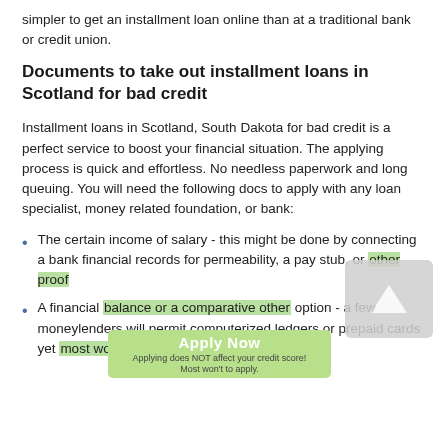simpler to get an installment loan online than at a traditional bank or credit union.
Documents to take out installment loans in Scotland for bad credit
Installment loans in Scotland, South Dakota for bad credit is a perfect service to boost your financial situation. The applying process is quick and effortless. No needless paperwork and long queuing. You will need the following docs to apply with any loan specialist, money related foundation, or bank:
The certain income of salary - this might be done by connecting a bank financial records for permeability, a pay stub, or other proof
A financial balance or a comparative other option - a few moneylenders will permit computerized ledgers or prepaid cards yet most won't